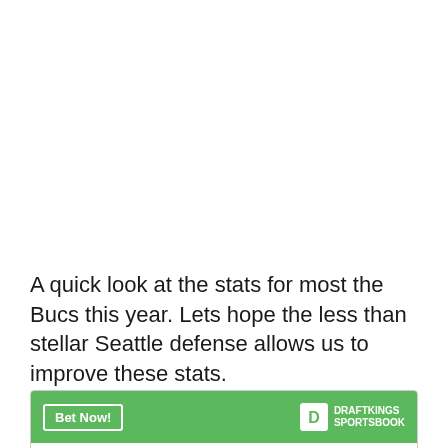A quick look at the stats for most the Bucs this year. Lets hope the less than stellar Seattle defense allows us to improve these stats.
|  | Leonard Fournette |  |
| --- | --- | --- |
| To win MVP |  | +20000 |